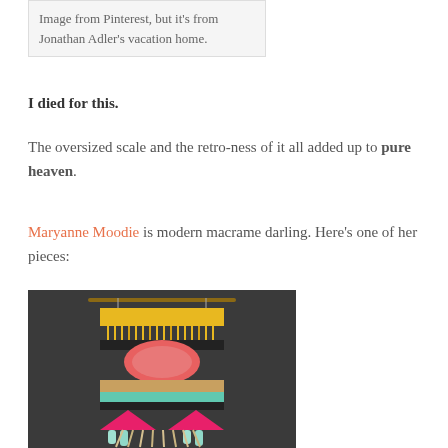Image from Pinterest, but it's from Jonathan Adler's vacation home.
I died for this.
The oversized scale and the retro-ness of it all added up to pure heaven.
Maryanne Moodie is modern macrame darling. Here's one of her pieces:
[Figure (photo): Colorful macrame/woven wall hanging with yellow fringe, pink oval center, multicolored bands and tassels, displayed against a dark gray background.]